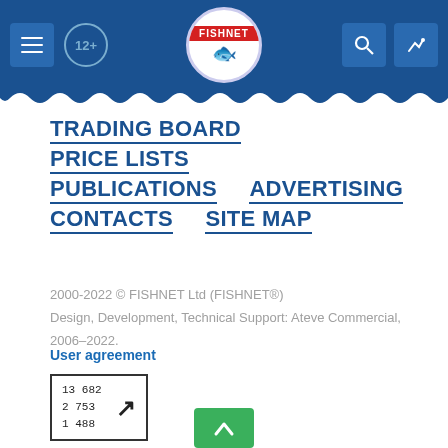FISHNET header navigation bar
TRADING BOARD
PRICE LISTS
PUBLICATIONS
ADVERTISING
CONTACTS
SITE MAP
2000-2022 © FISHNET Ltd (FISHNET®)
Design, Development, Technical Support: Ateve Commercial, 2006–2022.
User agreement
[Figure (other): Counter widget showing numbers 13 682, 2 753, 1 488 with an arrow icon]
[Figure (other): Green back-to-top button with upward arrow]